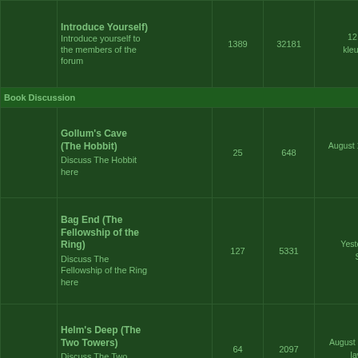|  | Topic | Posts | Views | Last Post |
| --- | --- | --- | --- | --- |
|  | Introduce Yourself (Introduce Yourself)
Introduce yourself to the members of the forum | 1389 | 32181 | 12 minutes ago
kleurplatenprinten |
| Book Discussion |  |  |  |  |
|  | Gollum's Cave (The Hobbit)
Discuss The Hobbit here | 25 | 648 | August 15th, 2022, 3:25 a
Letitia |
|  | Bag End (The Fellowship of the Ring)
Discuss The Fellowship of the Ring here | 127 | 5331 | Yesterday, 1:15 pm
SaraCastro |
|  | Helm's Deep (The Two Towers)
Discuss The Two Towers here | 64 | 2097 | August 5th, 2022, 7:24 pm
lawrencecarol |
|  | Minas Tirith (The Return of the King)
Discuss The Return of the King here | 80 | 3050 | January 13th, 2020, 4:38 p
Hanasian |
|  | Doriath (Miscellaneous |  |  |  |